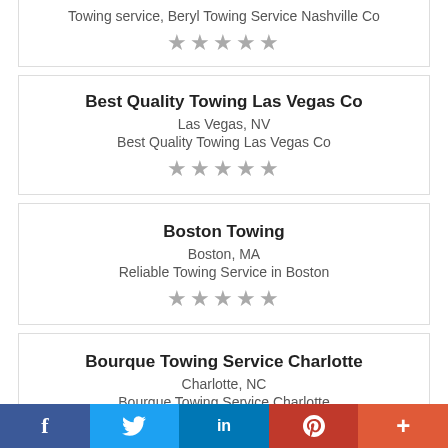Towing service, Beryl Towing Service Nashville Co
★★★★★
Best Quality Towing Las Vegas Co
Las Vegas, NV
Best Quality Towing Las Vegas Co
★★★★★
Boston Towing
Boston, MA
Reliable Towing Service in Boston
★★★★★
Bourque Towing Service Charlotte
Charlotte, NC
Bourque Towing Service Charlotte
f  🐦  in  P  +